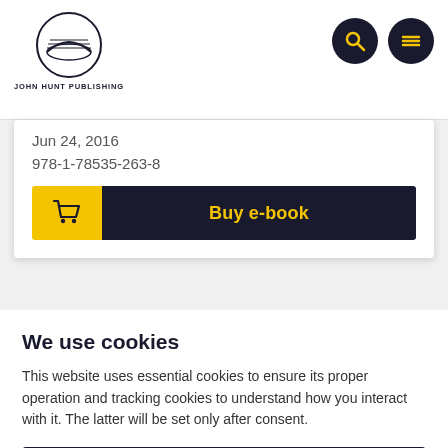[Figure (logo): John Hunt Publishing logo — circular emblem with open book and horizontal lines, with 'JOHN HUNT PUBLISHING' text below]
Jun 24, 2016
978-1-78535-263-8
Buy e-book
We use cookies
This website uses essential cookies to ensure its proper operation and tracking cookies to understand how you interact with it. The latter will be set only after consent.
I agree
Customize